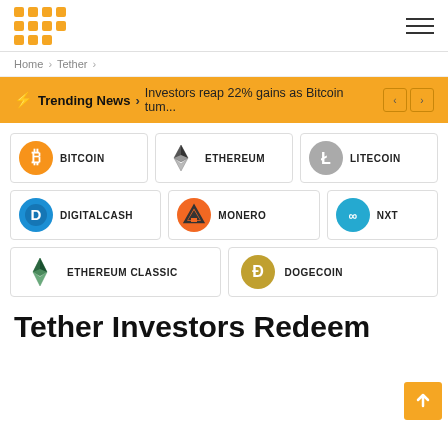[Figure (logo): Grid of orange dots logo]
Home > Tether >
⚡ Trending News > Investors reap 22% gains as Bitcoin tum...
[Figure (infographic): Cryptocurrency navigation cards: Bitcoin, Ethereum, Litecoin, DigitalCash, Monero, NXT, Ethereum Classic, Dogecoin]
Tether Investors Redeem